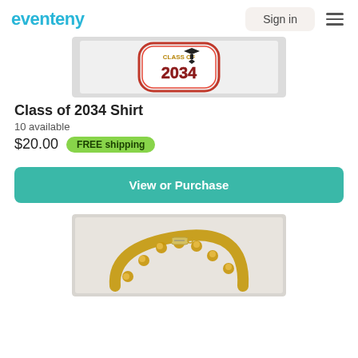eventeny — Sign in
[Figure (photo): Product photo of a Class of 2034 embroidered shirt/patch with graduation cap and red border]
Class of 2034 Shirt
10 available
$20.00  FREE shipping
View or Purchase
[Figure (photo): Product photo of a gold beaded/crystal bracelet with floral clusters and barrel clasp]